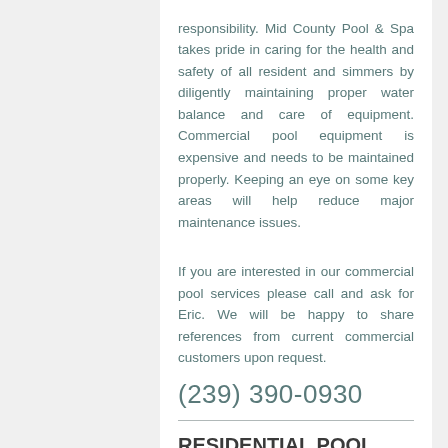responsibility. Mid County Pool & Spa takes pride in caring for the health and safety of all resident and simmers by diligently maintaining proper water balance and care of equipment. Commercial pool equipment is expensive and needs to be maintained properly. Keeping an eye on some key areas will help reduce major maintenance issues.
If you are interested in our commercial pool services please call and ask for Eric. We will be happy to share references from current commercial customers upon request.
(239) 390-0930
RESIDENTIAL POOL MAINTENANCE
We offer several plan to fit your pool needs. All plans include: